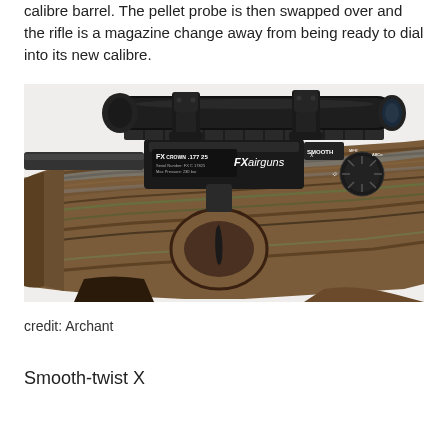calibre barrel. The pellet probe is then swapped over and the rifle is a magazine change away from being ready to dial into its new calibre.
[Figure (photo): Close-up photo of an FX airguns Crown PCP air rifle showing the laminate wood stock with multicolored layers, trigger guard, scope rail, and FX Crown label. A scope is mounted on top with rings. The FX airguns branding is visible on the receiver.]
credit: Archant
Smooth-twist X